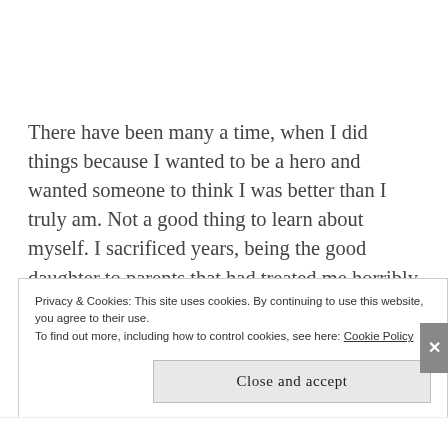There have been many a time, when I did things because I wanted to be a hero and wanted someone to think I was better than I truly am. Not a good thing to learn about myself. I sacrificed years, being the good daughter to parents that had treated me horribly and although it brought me closer to my sister who I lost recently, it also filled me with such
Privacy & Cookies: This site uses cookies. By continuing to use this website, you agree to their use.
To find out more, including how to control cookies, see here: Cookie Policy
Close and accept